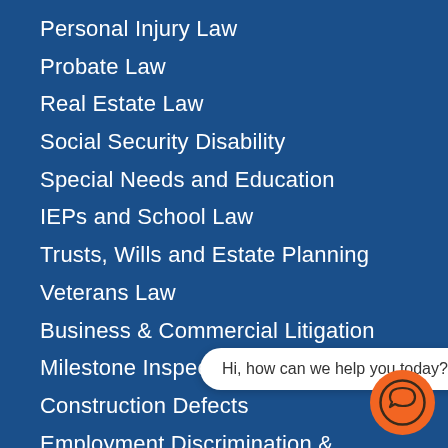Personal Injury Law
Probate Law
Real Estate Law
Social Security Disability
Special Needs and Education
IEPs and School Law
Trusts, Wills and Estate Planning
Veterans Law
Business & Commercial Litigation
Milestone Inspections
Construction Defects
Employment Discrimination & Harassment
First Party Insurance
Wage & Hour
Professional Malpractice
Hi, how can we help you today?
[Figure (illustration): Orange circular chat icon with speech bubble symbol]